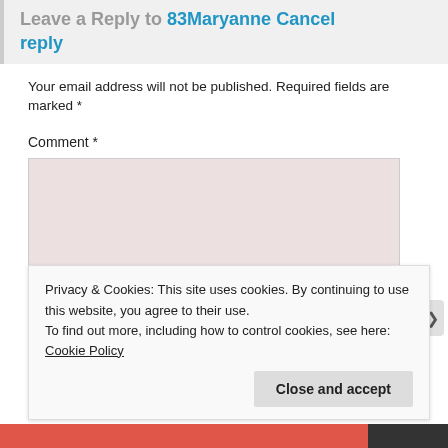Leave a Reply to 83Maryanne Cancel reply
Your email address will not be published. Required fields are marked *
Comment *
Privacy & Cookies: This site uses cookies. By continuing to use this website, you agree to their use.
To find out more, including how to control cookies, see here: Cookie Policy
Close and accept